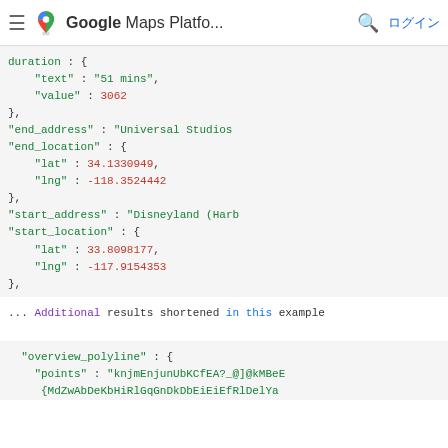Google Maps Platfo... ログイン
[Figure (screenshot): Code snippet showing JSON response from Google Maps Distance Matrix API with duration, end_address, end_location (lat: 34.1330949, lng: -118.3524442), start_address (Disneyland (Harb...), start_location (lat: 33.8098177, lng: -117.9154353)]
... Additional results shortened in this example
[Figure (screenshot): Code snippet showing overview_polyline with points: knjmEnjunUbKCfEA?_@]@kMBeE... and second line starting with {MdZwAbDeKbHiRlGqGnDkDbEiEiEfRlDelYa...]